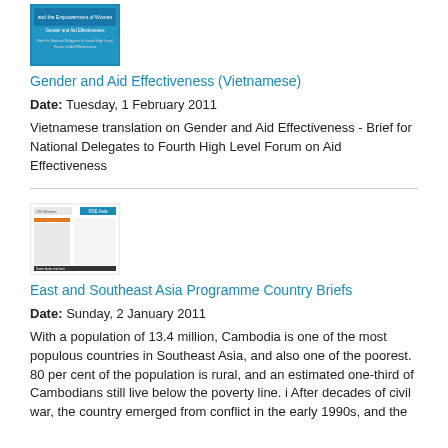[Figure (illustration): Thumbnail of a document cover page titled Gender and Aid Effectiveness (Vietnamese), showing a blue-colored document cover with text about gender and empowerment of women.]
Gender and Aid Effectiveness (Vietnamese)
Date: Tuesday, 1 February 2011
Vietnamese translation on Gender and Aid Effectiveness - Brief for National Delegates to Fourth High Level Forum on Aid Effectiveness
[Figure (illustration): Thumbnail of a document cover for East and Southeast Asia Programme Country Briefs, showing a white document with blue RSE Asia header and UN Women logo.]
East and Southeast Asia Programme Country Briefs
Date: Sunday, 2 January 2011
With a population of 13.4 million, Cambodia is one of the most populous countries in Southeast Asia, and also one of the poorest. 80 per cent of the population is rural, and an estimated one-third of Cambodians still live below the poverty line. i After decades of civil war, the country emerged from conflict in the early 1990s, and the